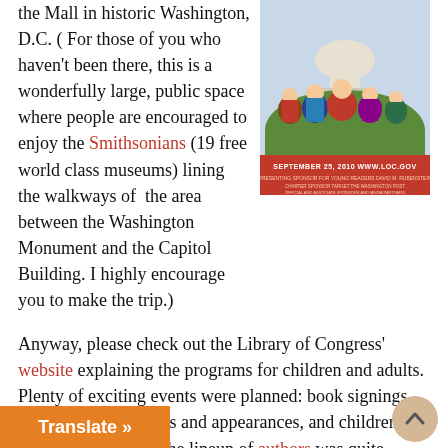the Mall in historic Washington, D.C. ( For those of you who haven't been there, this is a wonderfully large, public space where people are encouraged to enjoy the Smithsonians (19 free world class museums) lining the walkways of the area between the Washington Monument and the Capitol Building. I highly encourage you to make the trip.)
[Figure (illustration): Book festival poster showing colorful illustrated figures with Washington D.C. Capitol building in background. Text reads SEPTEMBER 25, 2010 WWW.LOC.GOV with additional sponsor text.]
Anyway, please check out the Library of Congress' website explaining the programs for children and adults. Plenty of exciting events were planned: book signings, dozens of author talks and appearances, and children's and teen activities. The lineup of authors was quite impressive, for instance, famous children's [author] ry Wells ( of the Max and Ruby series)